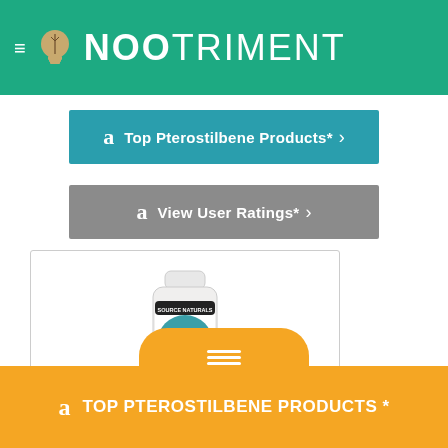NooTriment
[Figure (screenshot): Amazon affiliate button: Top Pterostilbene Products*]
[Figure (screenshot): Amazon affiliate button: View User Ratings*]
[Figure (photo): Source Naturals Pterostilbene supplement bottle product image]
Source Naturals Pterostilbene, Support for Healthy Aging
★★★★☆ (13)
TOP PTEROSTILBENE PRODUCTS *